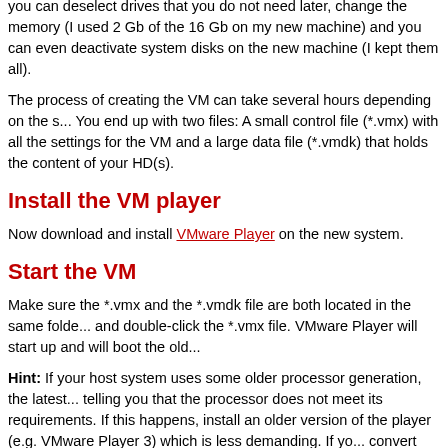you can deselect drives that you do not need later, change the memory (I used 2 Gb of the 16 Gb on my new machine) and you can even deactivate system disks on the new machine (I kept them all).
The process of creating the VM can take several hours depending on the size. You end up with two files: A small control file (*.vmx) with all the settings for the VM and a large data file (*.vmdk) that holds the content of your HD(s).
Install the VM player
Now download and install VMware Player on the new system.
Start the VM
Make sure the *.vmx and the *.vmdk file are both located in the same folder and double-click the *.vmx file. VMware Player will start up and will boot the old...
Hint: If your host system uses some older processor generation, the latest version telling you that the processor does not meet its requirements. If this happens, install an older version of the player (e.g. VMware Player 3) which is less demanding. If you do so, you may need to convert your VM image to match that older version. To convert your existing VM use VMware Converter and choose the image as the VM source.
Reactivate the OS
After logging in to Windows in your VM you will face a message that your...